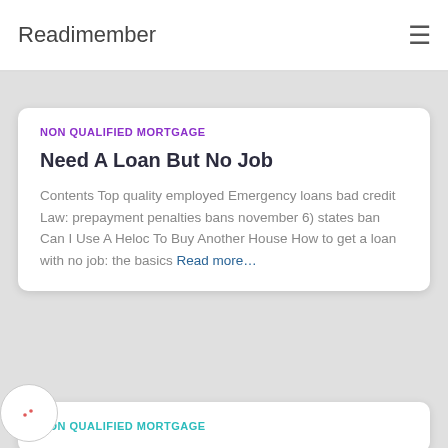Readimember
NON QUALIFIED MORTGAGE
Need A Loan But No Job
Contents Top quality employed Emergency loans bad credit Law: prepayment penalties bans november 6) states ban Can I Use A Heloc To Buy Another House How to get a loan with no job: the basics Read more…
NON QUALIFIED MORTGAGE